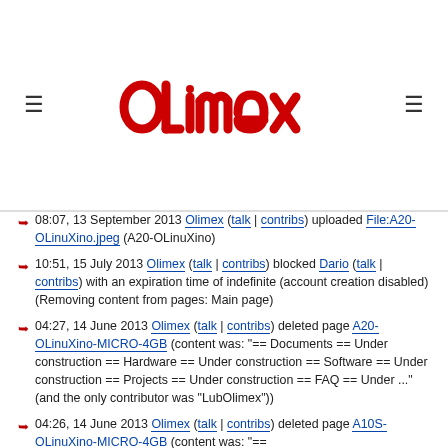[Figure (logo): Olimex logo in red with circuit-board style lettering]
08:07, 13 September 2013 Olimex (talk | contribs) uploaded File:A20-OLinuXino.jpeg (A20-OLinuXino)
10:51, 15 July 2013 Olimex (talk | contribs) blocked Dario (talk | contribs) with an expiration time of indefinite (account creation disabled) (Removing content from pages: Main page)
04:27, 14 June 2013 Olimex (talk | contribs) deleted page A20-OLinuXino-MICRO-4GB (content was: "== Documents == Under construction == Hardware == Under construction == Software == Under construction == Projects == Under construction == FAQ == Under ..." (and the only contributor was "LubOlimex"))
04:26, 14 June 2013 Olimex (talk | contribs) deleted page A10S-OLinuXino-MICRO-4GB (content was: "==